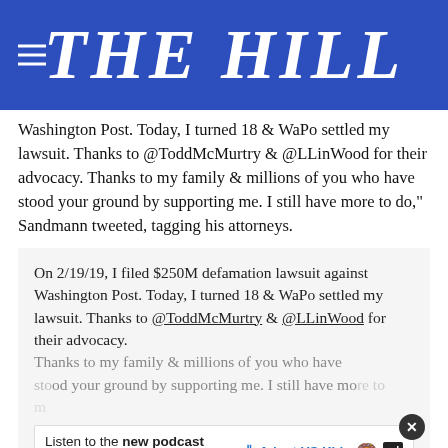THE HILL
Washington Post. Today, I turned 18 & WaPo settled my lawsuit. Thanks to @ToddMcMurtry & @LLinWood for their advocacy. Thanks to my family & millions of you who have stood your ground by supporting me. I still have more to do," Sandmann tweeted, tagging his attorneys.
On 2/19/19, I filed $250M defamation lawsuit against Washington Post. Today, I turned 18 & WaPo settled my lawsuit. Thanks to @ToddMcMurtry & @LLinWood for their advocacy. Thanks to my family & millions of you who have stood your ground by supporting me. I still have more to do,
[Figure (other): Advertisement banner: 'Listen to the new podcast about adoption.' with Adopt US Kids logo and ad badge]